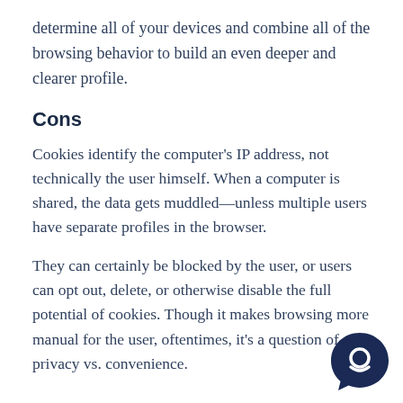determine all of your devices and combine all of the browsing behavior to build an even deeper and clearer profile.
Cons
Cookies identify the computer's IP address, not technically the user himself. When a computer is shared, the data gets muddled—unless multiple users have separate profiles in the browser.
They can certainly be blocked by the user, or users can opt out, delete, or otherwise disable the full potential of cookies. Though it makes browsing more manual for the user, oftentimes, it's a question of privacy vs. convenience.
[Figure (logo): Dark navy blue chat bubble icon with a smiling face inside, positioned in the bottom right corner]